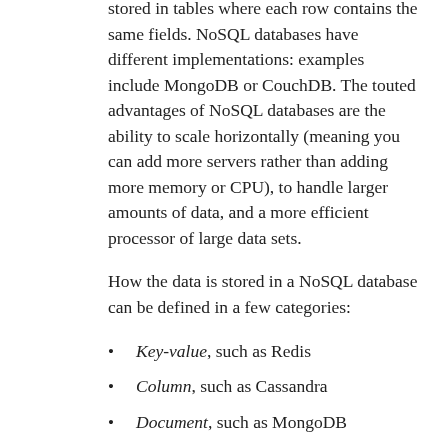stored in tables where each row contains the same fields. NoSQL databases have different implementations: examples include MongoDB or CouchDB. The touted advantages of NoSQL databases are the ability to scale horizontally (meaning you can add more servers rather than adding more memory or CPU), to handle larger amounts of data, and a more efficient processor of large data sets.
How the data is stored in a NoSQL database can be defined in a few categories:
Key-value, such as Redis
Column, such as Cassandra
Document, such as MongoDB
Each approach has pros and cons from a performance, flexibility, or complexity viewpoint. An